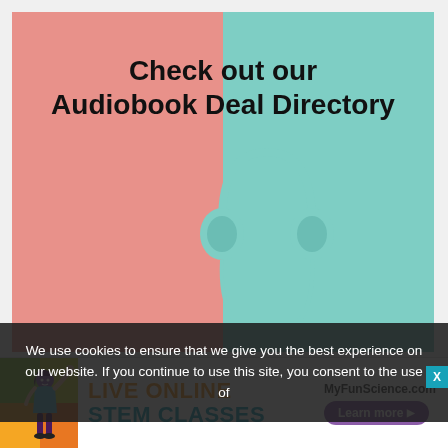[Figure (illustration): Audiobook Deal Directory banner with split pink and teal background, headphones in center, bold text 'Check out our Audiobook Deal Directory']
We use cookies to ensure that we give you the best experience on our website. If you continue to use this site, you consent to the use of
[Figure (infographic): LIVE ONLINE STEM CLASSES advertisement with MyFunScience.com and Learn more button, colorful figure of a person]